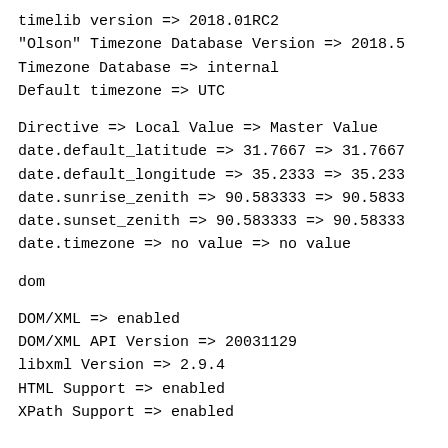timelib version => 2018.01RC2
"Olson" Timezone Database Version => 2018.5
Timezone Database => internal
Default timezone => UTC
Directive => Local Value => Master Value
date.default_latitude => 31.7667 => 31.7667
date.default_longitude => 35.2333 => 35.233
date.sunrise_zenith => 90.583333 => 90.5833
date.sunset_zenith => 90.583333 => 90.58333
date.timezone => no value => no value
dom
DOM/XML => enabled
DOM/XML API Version => 20031129
libxml Version => 2.9.4
HTML Support => enabled
XPath Support => enabled